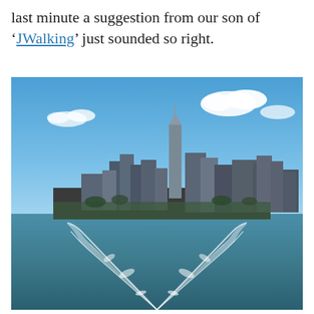last minute a suggestion from our son of 'JWalking' just sounded so right.
[Figure (photo): View of the New York City skyline including One World Trade Center, taken from a boat on the water. The boat's wake is visible in the foreground creating white foam trails on the blue-green water. Blue sky with scattered white clouds above the city.]